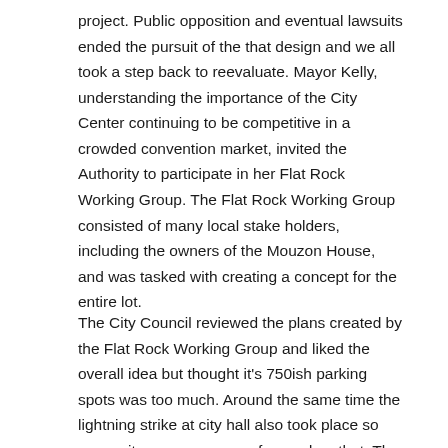project.  Public opposition and eventual lawsuits ended the pursuit of the that design and we all took a step back to reevaluate.  Mayor Kelly, understanding the importance of the City Center continuing to be competitive in a crowded convention market, invited the Authority to participate in her Flat Rock Working Group.  The Flat Rock Working Group consisted of many local stake holders, including the owners of the Mouzon House, and was tasked with creating a concept for the entire lot.
The City Council reviewed the plans created by the Flat Rock Working Group and liked the overall idea but thought it's 750ish parking spots was too much.  Around the same time the lightning strike at city hall also took place so many city resources were focused on that.  The City Center was asked to advance plans for the northern